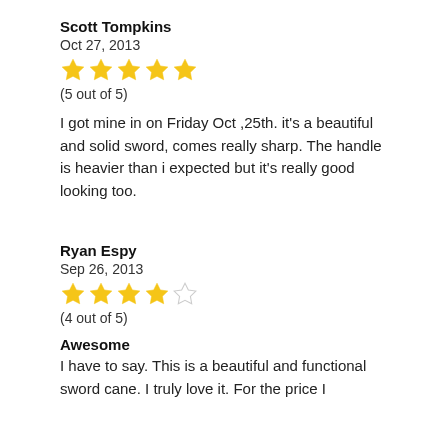Scott Tompkins
Oct 27, 2013
[Figure (other): 5 gold stars rating]
(5 out of 5)
I got mine in on Friday Oct ,25th. it's a beautiful and solid sword, comes really sharp. The handle is heavier than i expected but it's really good looking too.
Ryan Espy
Sep 26, 2013
[Figure (other): 4 gold stars and 1 empty star rating]
(4 out of 5)
Awesome
I have to say. This is a beautiful and functional sword cane. I truly love it. For the price I didn't expect to but here we are. the is really...